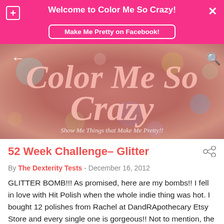Welcome to Color Me So Crazy!
Make Me Pretty on Facebook!
[Figure (illustration): Hero banner with bokeh/blurry colorful background and the blog title 'Color Me So Crazy' in large italic pink text, with subtitle 'Show Me Things that Make Me Pretty!!']
52 Week Challenge– Glitter
By The Dexterity Tests - December 16, 2012
GLITTER BOMB!!! As promised, here are my bombs!! I fell in love with Hit Polish when the whole indie thing was hot. I bought 12 polishes from Rachel at DandRApothecary Etsy Store and every single one is gorgeous!! Not to mention, the